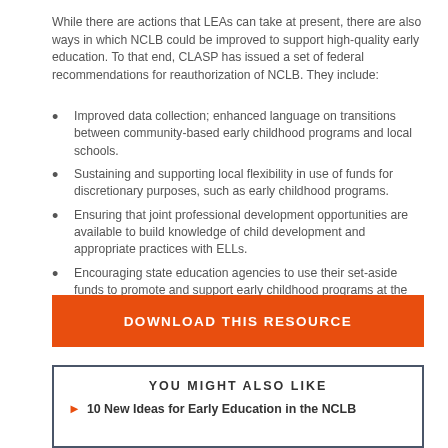While there are actions that LEAs can take at present, there are also ways in which NCLB could be improved to support high-quality early education. To that end, CLASP has issued a set of federal recommendations for reauthorization of NCLB. They include:
Improved data collection; enhanced language on transitions between community-based early childhood programs and local schools.
Sustaining and supporting local flexibility in use of funds for discretionary purposes, such as early childhood programs.
Ensuring that joint professional development opportunities are available to build knowledge of child development and appropriate practices with ELLs.
Encouraging state education agencies to use their set-aside funds to promote and support early childhood programs at the local level.
Increasing funding.
DOWNLOAD THIS RESOURCE
YOU MIGHT ALSO LIKE
10 New Ideas for Early Education in the NCLB...